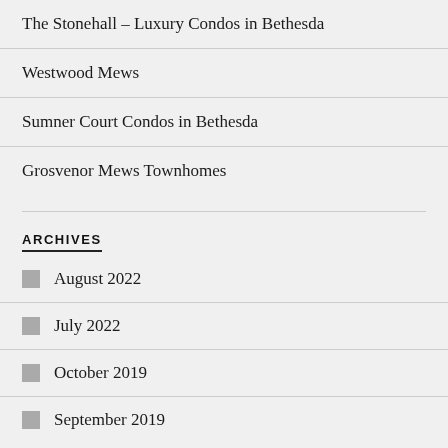The Stonehall – Luxury Condos in Bethesda
Westwood Mews
Sumner Court Condos in Bethesda
Grosvenor Mews Townhomes
ARCHIVES
August 2022
July 2022
October 2019
September 2019